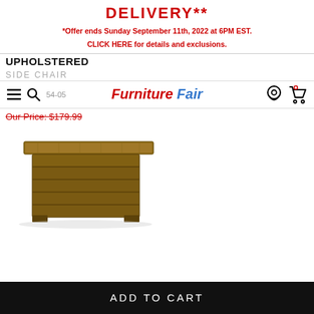DELIVERY**
*Offer ends Sunday September 11th, 2022 at 6PM EST. CLICK HERE for details and exclusions.
Furniture Fair
UPHOLSTERED
SIDE CHAIR
Our Price: $179.99
[Figure (photo): Rustic wooden coffee table with plank-style base]
ADD TO CART